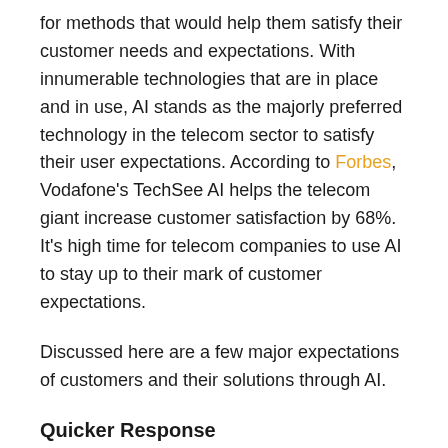for methods that would help them satisfy their customer needs and expectations. With innumerable technologies that are in place and in use, AI stands as the majorly preferred technology in the telecom sector to satisfy their user expectations. According to Forbes, Vodafone's TechSee AI helps the telecom giant increase customer satisfaction by 68%. It's high time for telecom companies to use AI to stay up to their mark of customer expectations.
Discussed here are a few major expectations of customers and their solutions through AI.
Quicker Response
Customers highly expect that their telecom provider promptly fixes their difficulties, manages customer